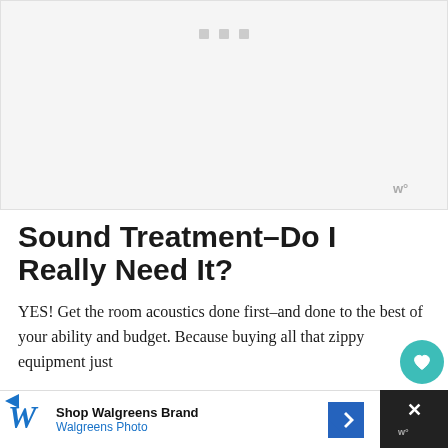[Figure (other): Advertisement placeholder area with light gray background and three small gray square dots near top center, with a watermark logo in the bottom right corner]
Sound Treatment–Do I Really Need It?
YES! Get the room acoustics done first–and done to the best of your ability and budget. Because buying all that zippy equipment just
[Figure (other): Walgreens Brand advertisement banner at the bottom: 'Shop Walgreens Brand / Walgreens Photo' with logo, arrow icon, and a close button with X on dark background]